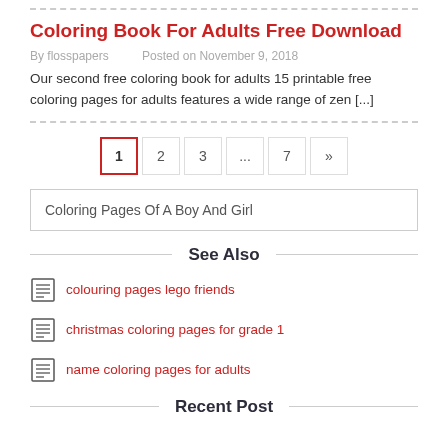Coloring Book For Adults Free Download
By flosspapers   Posted on November 9, 2018
Our second free coloring book for adults 15 printable free coloring pages for adults features a wide range of zen [...]
1  2  3  ...  7  »
Coloring Pages Of A Boy And Girl
See Also
colouring pages lego friends
christmas coloring pages for grade 1
name coloring pages for adults
Recent Post